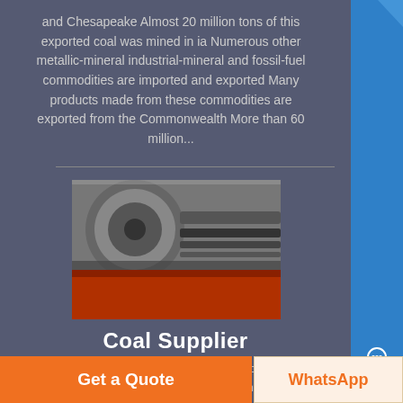and Chesapeake Almost 20 million tons of this exported coal was mined in ia Numerous other metallic-mineral industrial-mineral and fossil-fuel commodities are imported and exported Many products made from these commodities are exported from the Commonwealth More than 60 million...
[Figure (photo): Industrial machinery photo showing coal conveyor or mining equipment with metal rollers and red base]
Coal Supplier
Best Coal Shops in Port Elizabeth Find phone numbers address opening hours and reviews of the top Coal Shops in Port Elizabeth...
Get a Quote
WhatsApp